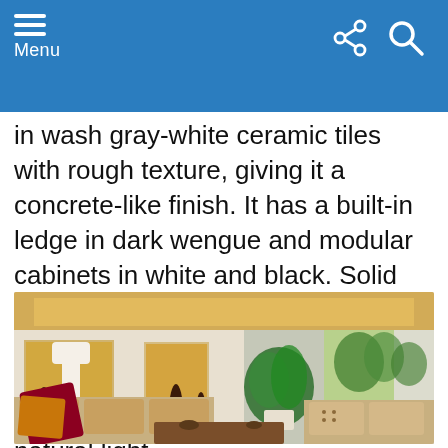Menu
in wash gray-white ceramic tiles with rough texture, giving it a concrete-like finish. It has a built-in ledge in dark wengue and modular cabinets in white and black. Solid teak wood floors help add warmth into the space and the large sliding doors not only gives a nice outdoor view, but also provides excellent natural light.
[Figure (photo): Interior photo of a luxury living room with warm ambient lighting, white walls with built-in niches containing dark vases, a floor lamp, a large window with green trees visible outside, cream sofas with colorful pillows, a tropical plant arrangement, and a wooden coffee table.]